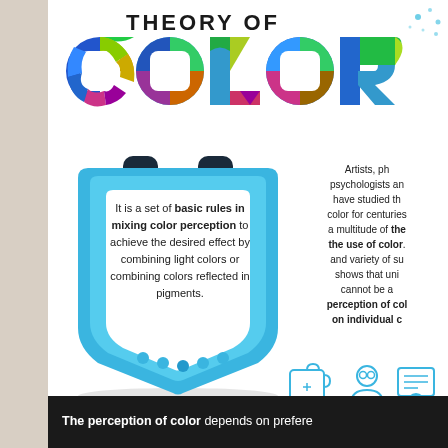THEORY OF COLOR
[Figure (infographic): Colorful letter tiles spelling COLOR with geometric color wheel segments, clipboard/shield shape with definition text and decorative dots]
It is a set of basic rules in mixing color perception to achieve the desired effect by combining light colors or combining colors reflected in pigments.
Artists, photographers, psychologists and scientists have studied the subject of color for centuries, generating a multitude of theories about the use of color. The number and variety of such theories shows that understanding cannot be achieved. The perception of color depends on individual culture...
[Figure (illustration): Three outline icons: puzzle piece, person with glasses, certificate/award]
The perception of color depends on preferences...